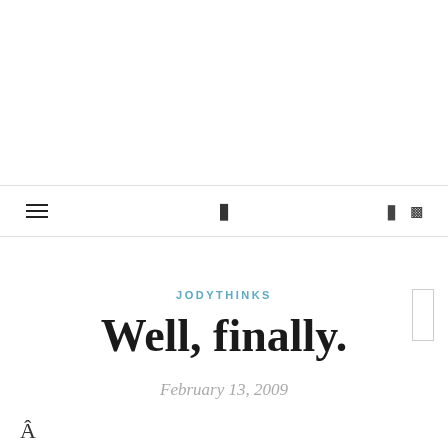Navigation bar with hamburger menu, center logo icon, and right icons
JODYTHINKS
Well, finally.
February 13, 2009